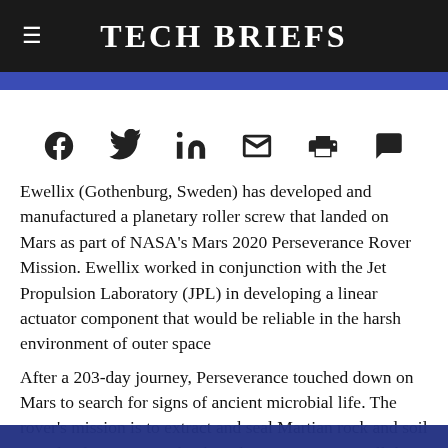Tech Briefs
[Figure (screenshot): Social sharing icons row: Facebook, Twitter, LinkedIn, Email, Print, Comment]
Ewellix (Gothenburg, Sweden) has developed and manufactured a planetary roller screw that landed on Mars as part of NASA's Mars 2020 Perseverance Rover Mission. Ewellix worked in conjunction with the Jet Propulsion Laboratory (JPL) in developing a linear actuator component that would be reliable in the harsh environment of outer space
After a 203-day journey, Perseverance touched down on Mars to search for signs of ancient microbial life. The rover's mission is to extract and seal Martian rock and soil samples for testing and onboard storage. NASA will then decide when and where the
Tech Briefs Media Group websites place cookies on your device to give you the best user experience. By using our websites, you agree to the placement of these cookies. To learn more, read our Privacy Policy.